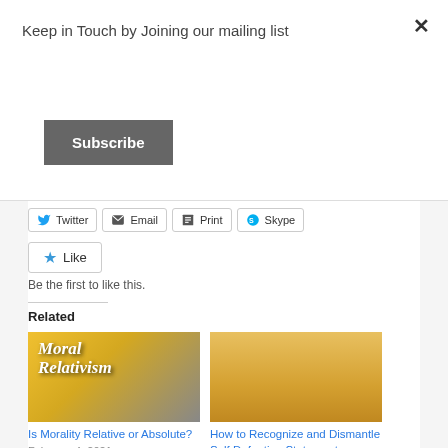Keep in Touch by Joining our mailing list
Subscribe
Twitter | Email | Print | Skype
Like
Be the first to like this.
Related
[Figure (illustration): Moral Relativism graphic with yellow warning sign background and white bold text]
Is Morality Relative or Absolute?
February 4, 2021
[Figure (illustration): Cartoon coyote character running against yellow/orange background]
How to Recognize and Dismantle Self Defeating Statements